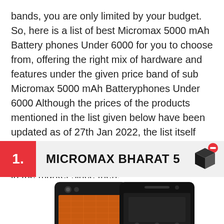bands, you are only limited by your budget. So, here is a list of best Micromax 5000 mAh Battery phones Under 6000 for you to choose from, offering the right mix of hardware and features under the given price band of sub Micromax 5000 mAh Batteryphones Under 6000 Although the prices of the products mentioned in the list given below have been updated as of 27th Jan 2022, the list itself may have changed since it was last published due to the launch of new products in the market since then.
1. MICROMAX BHARAT 5
[Figure (photo): Micromax Bharat 5 smartphone shown from back and front, with an orange battery/back cover visible]